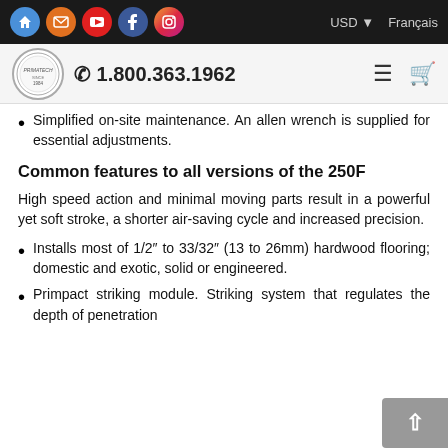Social media icons, USD, Français language selector
Logo, 1.800.363.1962, hamburger menu, cart
Simplified on-site maintenance. An allen wrench is supplied for essential adjustments.
Common features to all versions of the 250F
High speed action and minimal moving parts result in a powerful yet soft stroke, a shorter air-saving cycle and increased precision.
Installs most of 1/2″ to 33/32″ (13 to 26mm) hardwood flooring; domestic and exotic, solid or engineered.
Primpact striking module. Striking system that regulates the depth of penetration